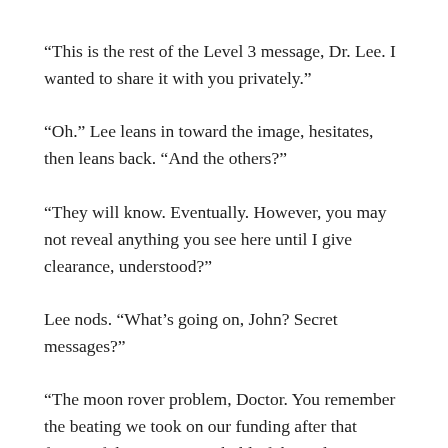“This is the rest of the Level 3 message, Dr. Lee. I wanted to share it with you privately.”
“Oh.” Lee leans in toward the image, hesitates, then leans back. “And the others?”
“They will know. Eventually. However, you may not reveal anything you see here until I give clearance, understood?”
Lee nods. “What’s going on, John? Secret messages?”
“The moon rover problem, Doctor. You remember the beating we took on our funding after that fiasco. If the press gets a hold of the real reason we are going to Metis 3, it could spell disaster for future funding.”